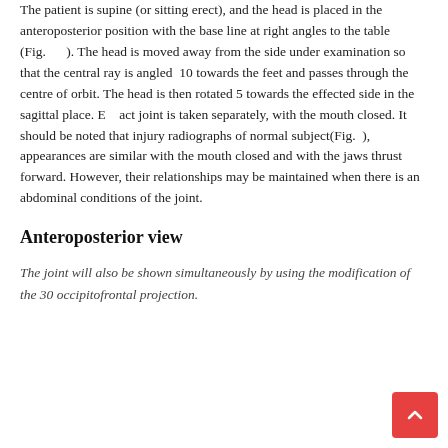The patient is supine (or sitting erect), and the head is placed in the anteroposterior position with the base line at right angles to the table (Fig.      ). The head is moved away from the side under examination so that the central ray is angled  10 towards the feet and passes through the centre of orbit. The head is then rotated 5 towards the effected side in the sagittal place. E    act joint is taken separately, with the mouth closed. It should be noted that injury radiographs of normal subject(Fig.  ), appearances are similar with the mouth closed and with the jaws thrust forward. However, their relationships may be maintained when there is an abdominal conditions of the joint.
Anteroposterior view
The joint will also be shown simultaneously by using the modification of the 30 occipitofrontal projection.